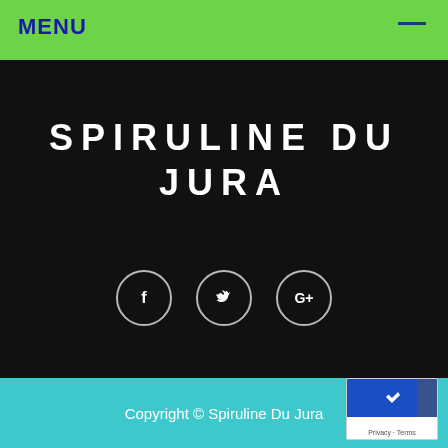MENU
SPIRULINE DU JURA
[Figure (infographic): Social media icons: Facebook (f), Twitter (bird), Google+ (G+) — white circular outlined icons on dark background]
Copyright © Spiruline Du Jura